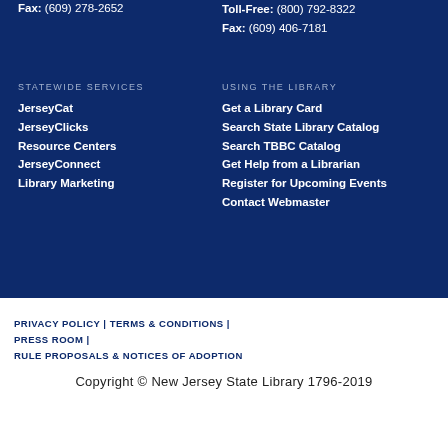Fax: (609) 278-2652
Toll-Free: (800) 792-8322
Fax: (609) 406-7181
STATEWIDE SERVICES
JerseyCat
JerseyClicks
Resource Centers
JerseyConnect
Library Marketing
USING THE LIBRARY
Get a Library Card
Search State Library Catalog
Search TBBC Catalog
Get Help from a Librarian
Register for Upcoming Events
Contact Webmaster
PRIVACY POLICY | TERMS & CONDITIONS | PRESS ROOM | RULE PROPOSALS & NOTICES OF ADOPTION
Copyright © New Jersey State Library 1796-2019